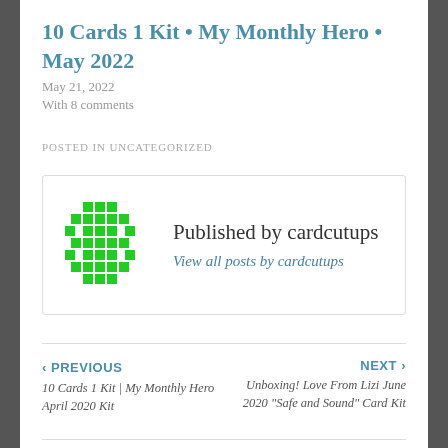10 Cards 1 Kit • My Monthly Hero • May 2022
May 21, 2022
With 8 comments
POSTED IN UNCATEGORIZED
[Figure (logo): Green diamond/pixel pattern logo for cardcutups]
Published by cardcutups
View all posts by cardcutups
‹ PREVIOUS
10 Cards 1 Kit | My Monthly Hero April 2020 Kit
NEXT ›
Unboxing! Love From Lizi June 2020 "Safe and Sound" Card Kit